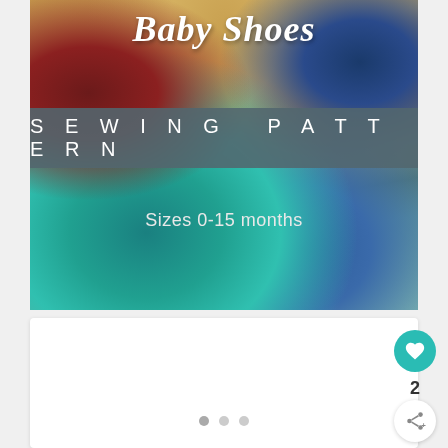[Figure (photo): Baby shoes sewing pattern cover image showing colorful fabric shoes (teal, red/maroon, blue patterned) on a wooden surface. Contains script title 'Baby Shoes', a gray banner with 'SEWING PATTERN' in spaced white letters, and subtitle 'Sizes 0-15 months' in white text.]
[Figure (screenshot): White card area below the banner image with three pagination dots at the bottom, a teal heart/like button with count '2', and a white share button with plus icon on the right side.]